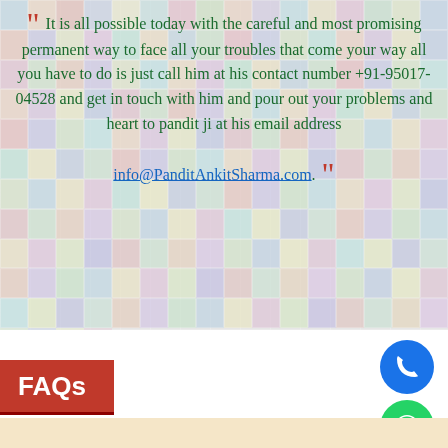[Figure (photo): Mosaic collage of many small photos of people forming a background behind the quote text]
“ It is all possible today with the careful and most promising permanent way to face all your troubles that come your way all you have to do is just call him at his contact number +91-95017-04528 and get in touch with him and pour out your problems and heart to pandit ji at his email address info@PanditAnkitSharma.com. ”
FAQs
[Figure (illustration): Blue circular phone call button icon]
[Figure (illustration): Green circular WhatsApp icon]